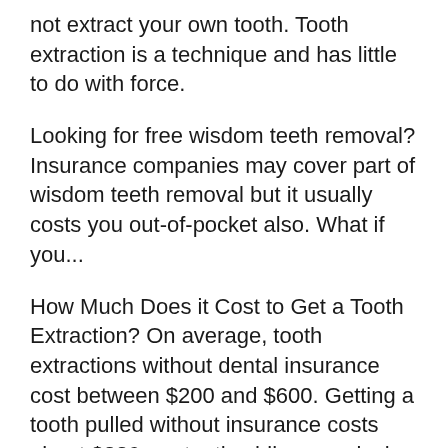not extract your own tooth. Tooth extraction is a technique and has little to do with force.
Looking for free wisdom teeth removal? Insurance companies may cover part of wisdom teeth removal but it usually costs you out-of-pocket also. What if you...
How Much Does it Cost to Get a Tooth Extraction? On average, tooth extractions without dental insurance cost between $200 and $600. Getting a tooth pulled without insurance costs about $236 per tooth while a surgical tooth extraction can be between $407 and $619.
For lower back teeth, we nearly always need to do a nerve block. This is where we have to